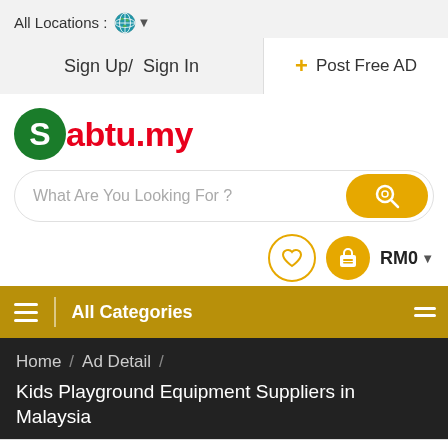All Locations :
Sign Up/ Sign In
+ Post Free AD
Sabtu.my
What Are You Looking For ?
RM0
≡  |  All Categories
Home  /  Ad Detail  /  Kids Playground Equipment Suppliers in Malaysia